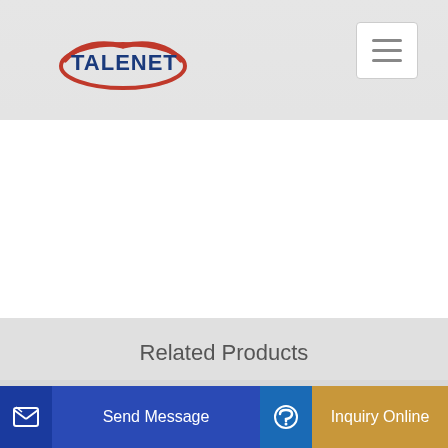[Figure (logo): TALENET company logo with red oval and blue text]
Related Products
Selling Concrete Mixer For Sale Prices Concrete Mixer Truck
China 120m3 H Concrete Mixing Batching Plant
Send Message
Inquiry Online